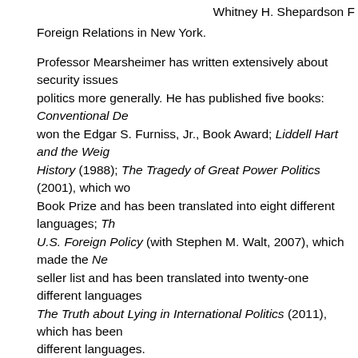Whitney H. Shepardson F
Foreign Relations in New York.
Professor Mearsheimer has written extensively about security issues and world politics more generally. He has published five books: Conventional De won the Edgar S. Furniss, Jr., Book Award; Liddell Hart and the Weig History (1988); The Tragedy of Great Power Politics (2001), which wo Book Prize and has been translated into eight different languages; Th U.S. Foreign Policy (with Stephen M. Walt, 2007), which made the Ne seller list and has been translated into twenty-one different languages The Truth about Lying in International Politics (2011), which has been different languages.
He has also written many articles that have appeared in academic jou Security, and popular magazines like the London Review of Books. F written a number of op-ed pieces for the New York Times and the Los with topics like Bosnia, nuclear proliferation, American policy towards Arab-Israeli peace efforts, and the folly of invading Iraq.
Finally, Professor Mearsheimer has won a number of teaching awards Clark Award for Distinguished Teaching when he was a graduate stud and he won the Quantrell Award for Distinguished Teaching at the Un 1985. In addition, he was selected as a Phi Beta Kappa Visiting Scho